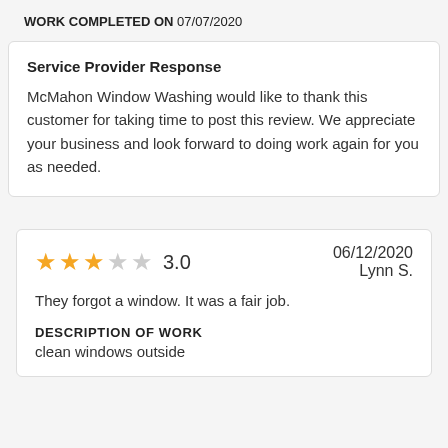WORK COMPLETED ON 07/07/2020
Service Provider Response
McMahon Window Washing would like to thank this customer for taking time to post this review. We appreciate your business and look forward to doing work again for you as needed.
3.0   06/12/2020   Lynn S.
They forgot a window. It was a fair job.
DESCRIPTION OF WORK
clean windows outside